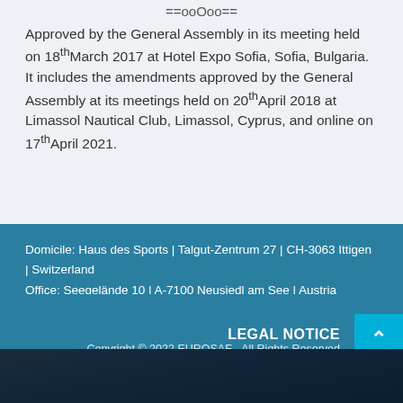==ooOoo==
Approved by the General Assembly in its meeting held on 18th March 2017 at Hotel Expo Sofia, Sofia, Bulgaria. It includes the amendments approved by the General Assembly at its meetings held on 20th April 2018 at Limassol Nautical Club, Limassol, Cyprus, and online on 17th April 2021.
Domicile: Haus des Sports | Talgut-Zentrum 27 | CH-3063 Ittigen | Switzerland
Office: Seegelände 10 | A-7100 Neusiedl am See | Austria
Phone: + 43 2167 40 243 | E-mail: contact@eurosaf.org
LEGAL NOTICE
Copyright © 2022 EUROSAF - All Rights Reserved